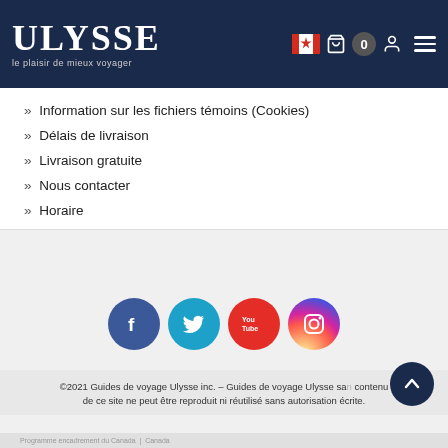ULYSSE — le plaisir de mieux voyager
» Information sur les fichiers témoins (Cookies)
» Délais de livraison
» Livraison gratuite
» Nous contacter
» Horaire
[Figure (illustration): Social media icons: Facebook (blue circle), Twitter (cyan circle), YouTube (red circle), Instagram (gradient circle)]
©2021 Guides de voyage Ulysse inc. – Guides de voyage Ulysse sans contenu de ce site ne peut être reproduit ni réutilisé sans autorisation écrite.